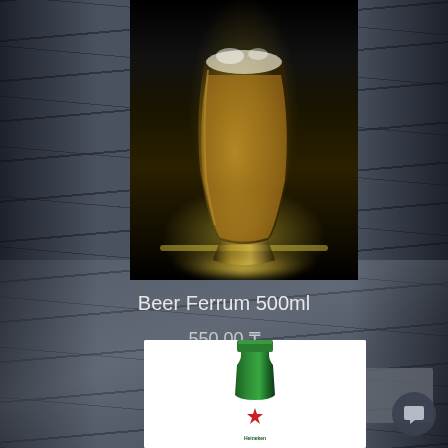[Figure (photo): Photo of a beer glass with golden beer on a dark background, viewed from slightly above, with a glowing light effect at the base]
Beer Ferrum 500ml
550.00 ₸
Add to cart
[Figure (photo): Green Heineken beer bottle on white background, showing the top portion with red star label]